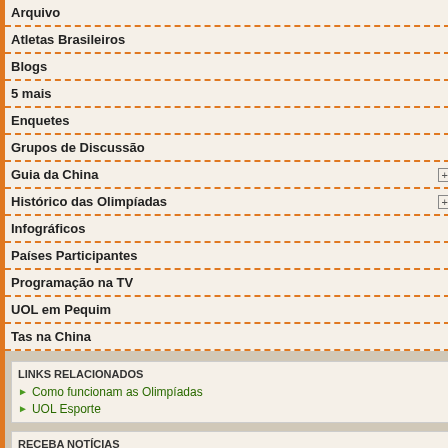Arquivo
Atletas Brasileiros
Blogs
5 mais
Enquetes
Grupos de Discussão
Guia da China [+]
Histórico das Olimpíadas [+]
Infográficos
Países Participantes
Programação na TV
UOL em Pequim
Tas na China
LINKS RELACIONADOS
Como funcionam as Olimpíadas
UOL Esporte
RECEBA NOTÍCIAS
CELULAR
CLIPPING
WIDGETS
| Prova | Categoria | Tipo de disputa |
| --- | --- | --- |
| 200 m rasos - Série 2 | Feminino | Primeira rodada |
Triatlo
| Prova | Categoria | Tipo de disputa |
| --- | --- | --- |
| Prova masculina | Masculino | Final |
Atletismo
| Prova | Categoria | Tipo de disputa |
| --- | --- | --- |
| 200 m rasos - Série 3 | Masculino | Segunda rodada |
Hipismo